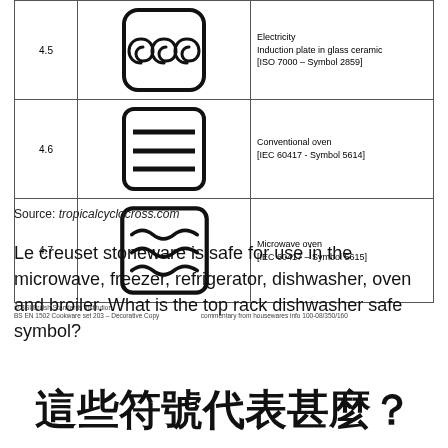|  | Symbol | Description |
| --- | --- | --- |
| 4.5 | [induction coil icon] | Electricity
Induction plate in glass ceramic
[ISO 7000 – Symbol 2859] |
| 4.6 | [conventional oven icon] | Conventional oven
[IEC 60417 - Symbol 5614] |
| 4.7 | [microwave oven icon] | Microwave oven
[IEC 60417 – Symbol 5615] |
© BSI British Standards Institution
BS EN 1502 Cookware set 203 – Decorative Copy
commentary from housewares info 100-08/350/160
Source: tropicalcyclocross.com
Le creuset stoneware is safe for use in the microwave, freezer, refrigerator, dishwasher, oven and broiler. What is the top rack dishwasher safe symbol?
這些符號代表甚麼？